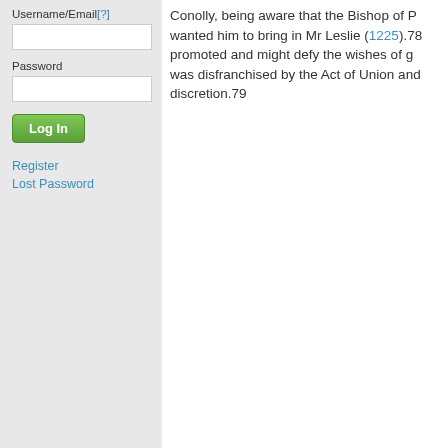Username/Email[?]
Password
Log In
Register
Lost Password
Conolly, being aware that the Bishop of [P] wanted him to bring in Mr Leslie (1225).78 promoted and might defy the wishes of g was disfranchised by the Act of Union and discretion.79